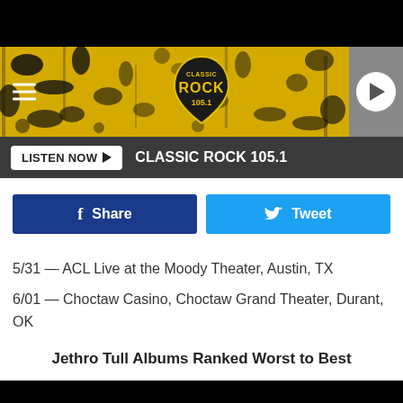[Figure (screenshot): Classic Rock 105.1 radio station banner with yellow and black splatter design, hamburger menu icon on left, station logo in center, play button on right gray area]
LISTEN NOW ▶   CLASSIC ROCK 105.1
f Share
Tweet
5/31 — ACL Live at the Moody Theater, Austin, TX
6/01 — Choctaw Casino, Choctaw Grand Theater, Durant, OK
Jethro Tull Albums Ranked Worst to Best